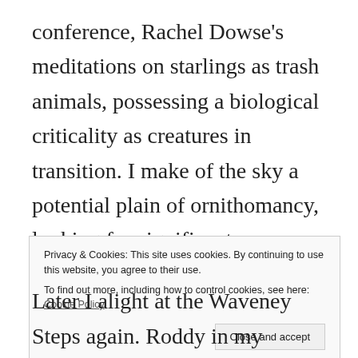conference, Rachel Dowse's meditations on starlings as trash animals, possessing a biological criticality as creatures in transition. I make of the sky a potential plain of ornithomancy, looking for significant murmurations, evidence of darkness to come. But there is nothing but gulls, a whey-coloured streak of connected cumulus. The wake rolls out behind us, a luxurious carpet of rippling blue. We are going south again. The gulls recede. Aberdeen harbour is a
Privacy & Cookies: This site uses cookies. By continuing to use this website, you agree to their use.
To find out more, including how to control cookies, see here: Cookie Policy
Later I alight at the Waveney Steps again. Roddy in my